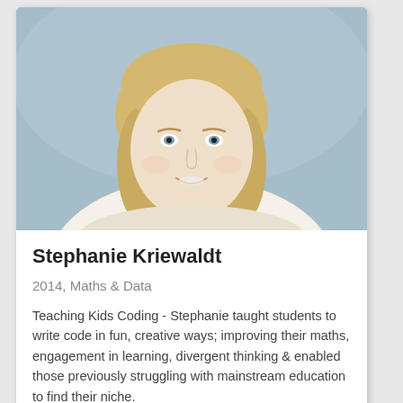[Figure (photo): Professional headshot of Stephanie Kriewaldt, a blonde woman smiling, against a blue-grey background]
Stephanie Kriewaldt
2014, Maths & Data
Teaching Kids Coding - Stephanie taught students to write code in fun, creative ways; improving their maths, engagement in learning, divergent thinking & enabled those previously struggling with mainstream education to find their niche.